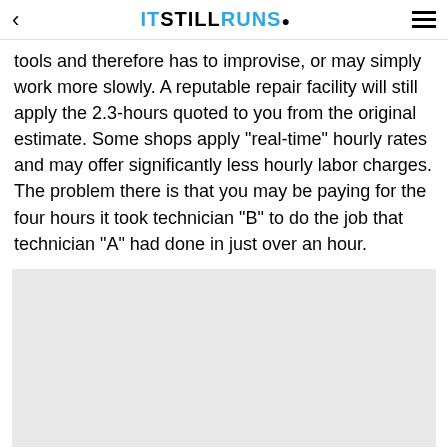ITSTILLRUNS.
tools and therefore has to improvise, or may simply work more slowly. A reputable repair facility will still apply the 2.3-hours quoted to you from the original estimate. Some shops apply "real-time" hourly rates and may offer significantly less hourly labor charges. The problem there is that you may be paying for the four hours it took technician "B" to do the job that technician "A" had done in just over an hour.
[Figure (other): Gray advertisement placeholder block]